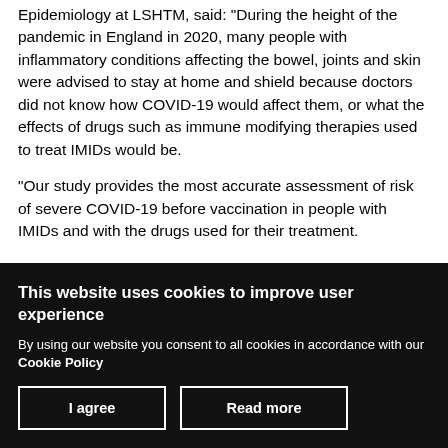Epidemiology at LSHTM, said: "During the height of the pandemic in England in 2020, many people with inflammatory conditions affecting the bowel, joints and skin were advised to stay at home and shield because doctors did not know how COVID-19 would affect them, or what the effects of drugs such as immune modifying therapies used to treat IMIDs would be.
"Our study provides the most accurate assessment of risk of severe COVID-19 before vaccination in people with IMIDs and with the drugs used for their treatment.
This website uses cookies to improve user experience
By using our website you consent to all cookies in accordance with our Cookie Policy